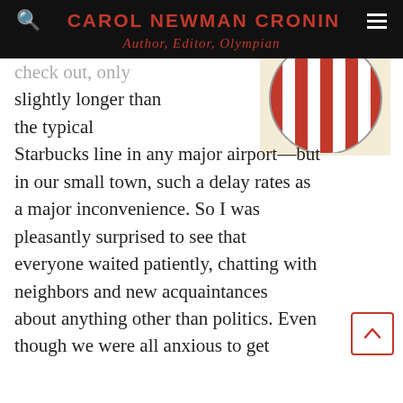CAROL NEWMAN CRONIN
Author, Editor, Olympian
[Figure (illustration): Circular red and white striped badge/emblem, partially cropped at top, on a cream/tan background.]
check out, only slightly longer than the typical Starbucks line in any major airport—but in our small town, such a delay rates as a major inconvenience. So I was pleasantly surprised to see that everyone waited patiently, chatting with neighbors and new acquaintances about anything other than politics. Even though we were all anxious to get started with the rest of our day, and